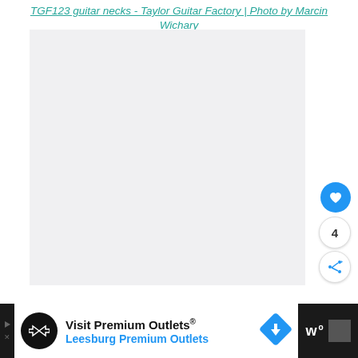TGF123 guitar necks - Taylor Guitar Factory | Photo by Marcin Wichary
[Figure (photo): Large light grey/white placeholder area for a photo of guitar necks at Taylor Guitar Factory]
4
[Figure (other): Advertisement bar: Visit Premium Outlets® Leesburg Premium Outlets with logo and navigation arrow icon]